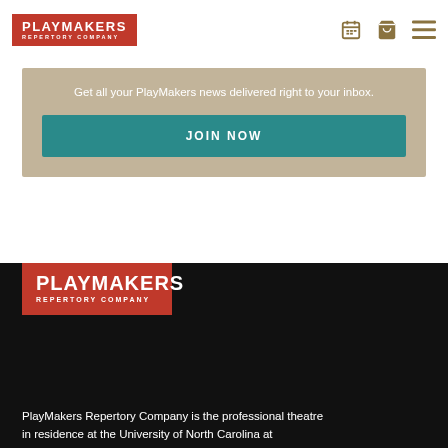[Figure (logo): PlayMakers Repertory Company logo – white text on red background, top navigation bar]
Get all your PlayMakers news delivered right to your inbox.
JOIN NOW
[Figure (logo): PlayMakers Repertory Company logo – white text on red background, footer]
PlayMakers Repertory Company is the professional theatre in residence at the University of North Carolina at